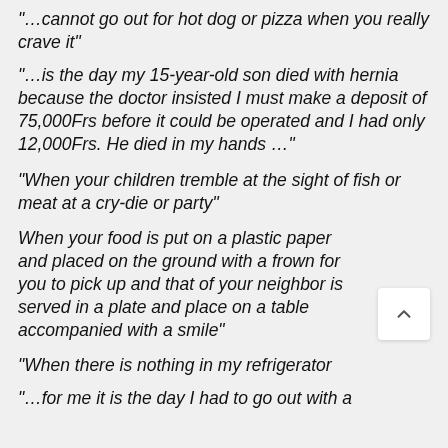"…cannot go out for hot dog or pizza when you really crave it"
"…is the day my 15-year-old son died with hernia because the doctor insisted I must make a deposit of 75,000Frs before it could be operated and I had only 12,000Frs. He died in my hands …"
"When your children tremble at the sight of fish or meat at a cry-die or party"
When your food is put on a plastic paper and placed on the ground with a frown for you to pick up and that of your neighbor is served in a plate and place on a table accompanied with a smile"
"When there is nothing in my refrigerator
"…for me it is the day I had to go out with a